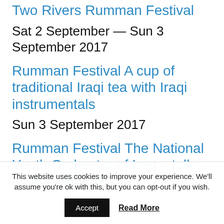Two Rivers Rumman Festival
Sat 2 September — Sun 3 September 2017
Rumman Festival A cup of traditional Iraqi tea with Iraqi instrumentals
Sun 3 September 2017
Rumman Festival The National Youth Orchestra of Iraq – talk by Paul MacAlindin
This website uses cookies to improve your experience. We'll assume you're ok with this, but you can opt-out if you wish.
Accept
Read More